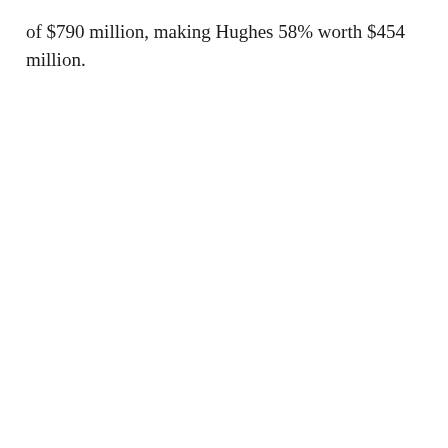of $790 million, making Hughes 58% worth $454 million.